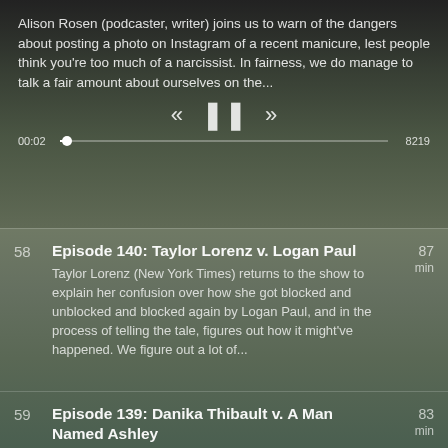Alison Rosen (podcaster, writer) joins us to warn of the dangers about posting a photo on Instagram of a recent manicure, lest people think you're too much of a narcissist. In fairness, we do manage to talk a fair amount about ourselves on the...
[Figure (other): Podcast player playback controls: rewind (<<), pause (||), fast-forward (>>) buttons with a progress bar showing 00:02 on left and 8219 on right]
58
Episode 140: Taylor Lorenz v. Logan Paul
Taylor Lorenz (New York Times) returns to the show to explain her confusion over how she got blocked and unblocked and blocked again by Logan Paul, and in the process of telling the tale, figures out how it might've happened. We figure out a lot of...
87 min
59
Episode 139: Danika Thibault v. A Man Named Ashley
If you're thinking you can't trust a man named Ashley, our guest this week, Danika Thibault (comedian), is here to prove you right, as she tells a tale about a chance encounter leading to a very weird online interaction and subsequent blocking by...a...
83 min
60
Episode 138: Tom v. Jamie Sweaty
It's a long-awaited episode as our old friend Tom (ChapeEYM) joins us after the worst intro in show...
90 min